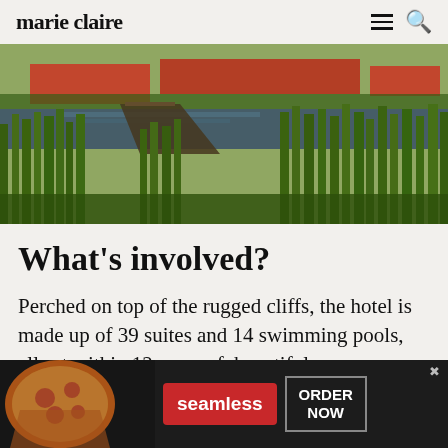marie claire
[Figure (photo): Landscape photo of a wetland scene with tall green reeds/grass, a wooden boardwalk or dock, a calm reflective water body, and red-roofed buildings in the background at golden hour.]
What's involved?
Perched on top of the rugged cliffs, the hotel is made up of 39 suites and 14 swimming pools,  all set within 12 acres of  beautiful
[Figure (other): Seamless food delivery advertisement banner showing pizza slices on the left, a red 'seamless' button in the center, and an 'ORDER NOW' button on the right against a dark background.]